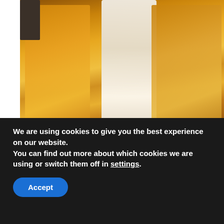[Figure (photo): Wedding photo showing three people in traditional South Asian attire with gold embroidered clothing]
Accepting polygamy: Comedian Nasra understands men
August 29, 2022
[Figure (photo): Partial photo of people, partially obscured by cookie banner]
We are using cookies to give you the best experience on our website.
You can find out more about which cookies we are using or switch them off in settings.
Accept